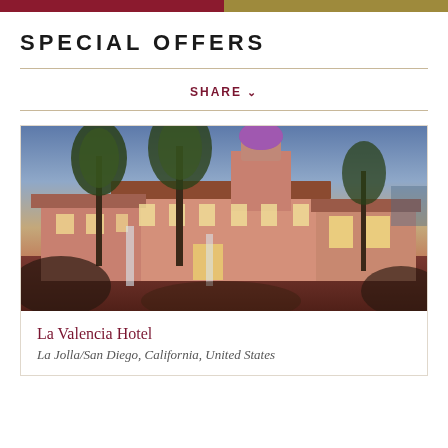SPECIAL OFFERS
SHARE
[Figure (photo): Exterior twilight/dusk photograph of La Valencia Hotel, a Spanish colonial-style pink building with a distinctive tower topped with a purple-lit dome, surrounded by tall palm trees, with warm lighting illuminating the entrance and arched windows.]
La Valencia Hotel
La Jolla/San Diego, California, United States